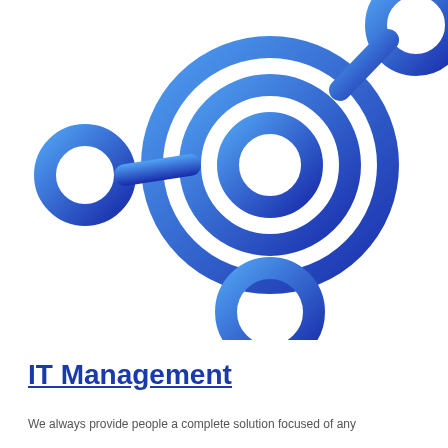[Figure (logo): Network/IT management icon: a stylized network diagram with concentric rings and connected circles using a blue gradient, resembling a hub-and-spoke or atom-like structure.]
IT Management
We always provide people a complete solution focused of any